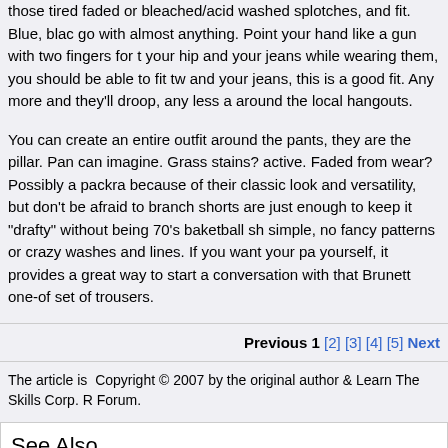those tired faded or bleached/acid washed splotches, and fit. Blue, black go with almost anything. Point your hand like a gun with two fingers for your hip and your jeans while wearing them, you should be able to fit tw and your jeans, this is a good fit. Any more and they'll droop, any less a around the local hangouts.
You can create an entire outfit around the pants, they are the pillar. Pan can imagine. Grass stains? active. Faded from wear? Possibly a packra because of their classic look and versatility, but don't be afraid to branch shorts are just enough to keep it "drafty" without being 70's baketball sh simple, no fancy patterns or crazy washes and lines. If you want your pa yourself, it provides a great way to start a conversation with that Brunett one-of set of trousers.
Previous 1 [2] [3] [4] [5] Next
The article is  Copyright © 2007 by the original author & Learn The Skills Corp. R Forum.
See Also